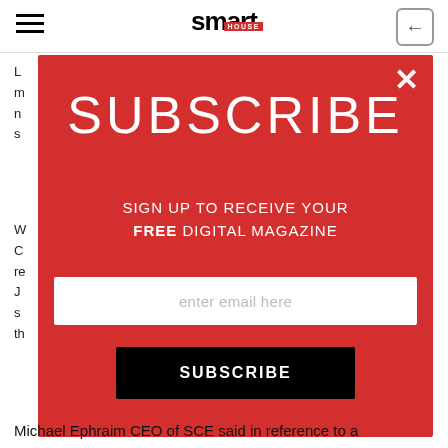smart HOUSE
Michael Ephraim CEO of SCE said in reference to a
[Figure (screenshot): A red modal popup overlay on a website showing a subscribe call-to-action. The modal contains the text 'SUBSCRIBE', 'SIGN UP TO RECEIVE YOUR FREE DIGITAL MAGAZINE', an email input field with placeholder 'enter email here', and a black SUBSCRIBE button. A white X close button is in the top-right corner of the modal.]